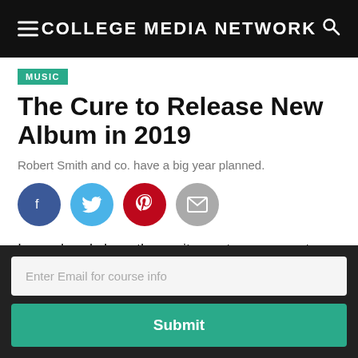COLLEGE MEDIA NETWORK
MUSIC
The Cure to Release New Album in 2019
Robert Smith and co. have a big year planned.
[Figure (infographic): Social sharing buttons row: Facebook (dark blue), Twitter (light blue), Pinterest (red), Email (grey)]
I can already hear the excitement among post-punk-loving goths: 2019 is The Cure's 40th anniversary of the
Enter Email for course info
Submit